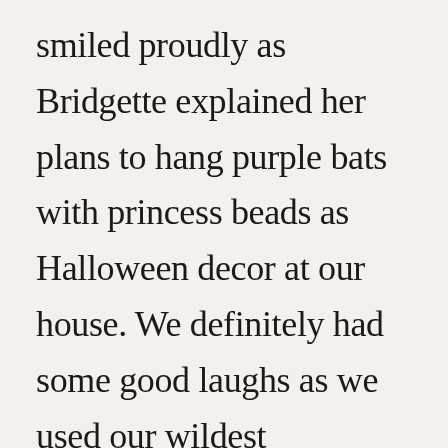smiled proudly as Bridgette explained her plans to hang purple bats with princess beads as Halloween decor at our house. We definitely had some good laughs as we used our wildest imaginations to come up with the craziest ideas to utilize the treasures we found inside those